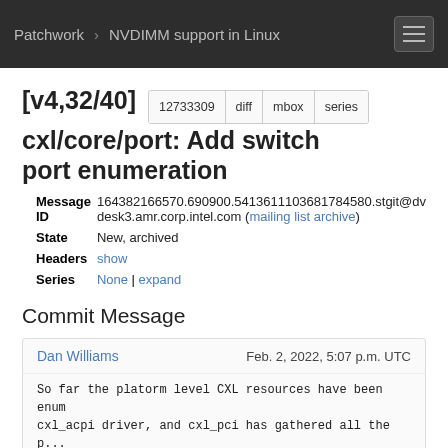Patchwork  NVDIMM support in Linux
[v4,32/40] cxl/core/port: Add switch port enumeration
| Field | Value |
| --- | --- |
| Message ID | 164382166570.690900.5413611103681784580.stgit@desk3.amr.corp.intel.com (mailing list archive) |
| State | New, archived |
| Headers | show |
| Series | None | expand |
Commit Message
Dan Williams  Feb. 2, 2022, 5:07 p.m. UTC
So far the platorm level CXL resources have been enum cxl_acpi driver, and cxl_pci has gathered all the p...